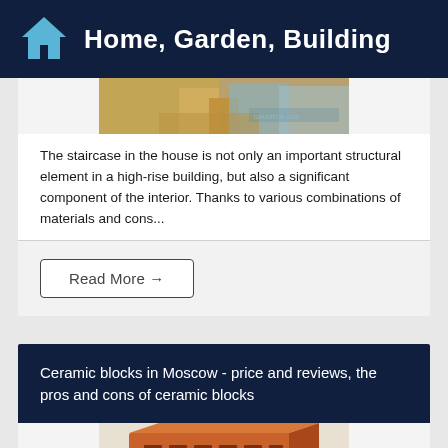Home, Garden, Building
[Figure (photo): Wooden staircase construction photo]
The staircase in the house is not only an important structural element in a high-rise building, but also a significant component of the interior. Thanks to various combinations of materials and cons...
Read More →
Ceramic blocks in Moscow - price and reviews, the pros and cons of ceramic blocks
[Figure (photo): Ceramic block / brick product photo]